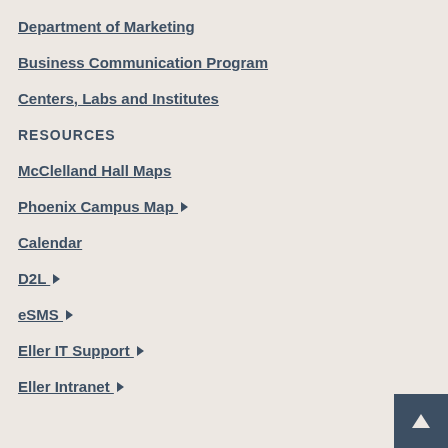Department of Marketing
Business Communication Program
Centers, Labs and Institutes
RESOURCES
McClelland Hall Maps
Phoenix Campus Map ↗
Calendar
D2L ↗
eSMS ↗
Eller IT Support ↗
Eller Intranet ↗